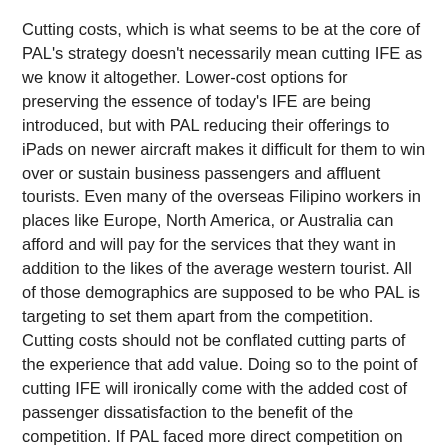Cutting costs, which is what seems to be at the core of PAL's strategy doesn't necessarily mean cutting IFE as we know it altogether. Lower-cost options for preserving the essence of today's IFE are being introduced, but with PAL reducing their offerings to iPads on newer aircraft makes it difficult for them to win over or sustain business passengers and affluent tourists. Even many of the overseas Filipino workers in places like Europe, North America, or Australia can afford and will pay for the services that they want in addition to the likes of the average western tourist. All of those demographics are supposed to be who PAL is targeting to set them apart from the competition. Cutting costs should not be conflated cutting parts of the experience that add value. Doing so to the point of cutting IFE will ironically come with the added cost of passenger dissatisfaction to the benefit of the competition. If PAL faced more direct competition on many of their routes, they might just find themselves at a competitive disadvantage.
The new A330 aircraft being ordered should have been an opportunity for PAL to demonstrate that it is a world-class